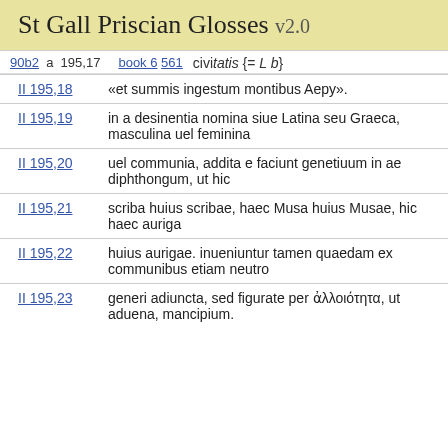St Gall Priscian Glosses v2.0
90b2  a  195,17  book 6  561  civitatis {= b}
| Ref | Content |
| --- | --- |
| II 195,18 | «et summis ingestum montibus Aepy». |
| II 195,19 | in a desinentia nomina siue Latina seu Graeca, masculina uel feminina |
| II 195,20 | uel communia, addita e faciunt genetiuum in ae diphthongum, ut hic |
| II 195,21 | scriba huius scribae, haec Musa huius Musae, hic haec auriga |
| II 195,22 | huius aurigae. inueniuntur tamen quaedam ex communibus etiam neutro |
| II 195,23 | generi adiuncta, sed figurate per ἀλλοιότητα, ut aduena, mancipium. |